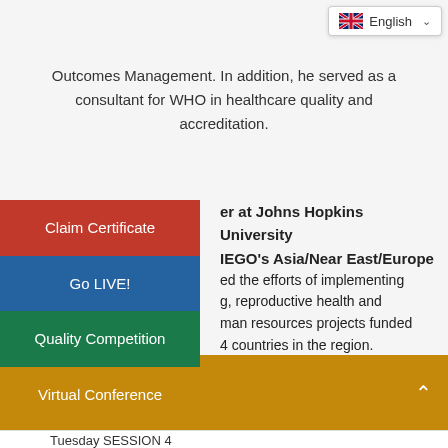[Figure (screenshot): English language selector badge with UK flag icon and dropdown chevron]
Outcomes Management. In addition, he served as consultant for WHO in healthcare quality and accreditation.
Claim Certificate
er at Johns Hopkins University IEGO's Asia/Near East/Europe ed the efforts of implementing g, reproductive health and man resources projects funded 4 countries in the region.
Go LIVE!
Quality Competition
Virtual Conference
12:00 - 12:15
Tuesday SESSION 4